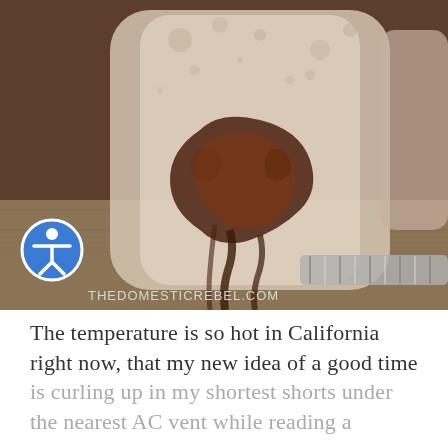[Figure (photo): Close-up photo of a mason jar filled with a creamy chocolate drink with swirls of chocolate sauce inside, sitting on a burlap mat with a striped silver spoon nearby. Watermark text reads THEDOMESTICREBEL.COM at the bottom left.]
The temperature is so hot in California right now, that my new idea of a good time is curling up in my shortest shorts under the nearest AC vent while reading a